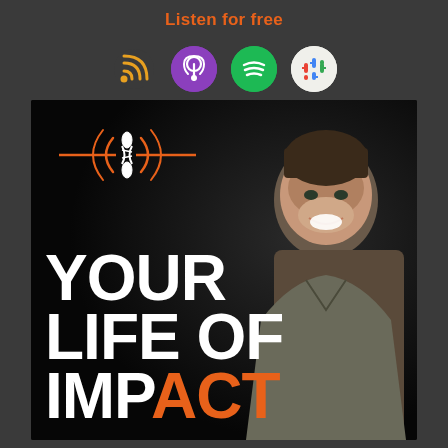Listen for free
[Figure (infographic): Four podcast platform icons: RSS feed (orange), Apple Podcasts (purple circle), Spotify (green circle), Google Podcasts (white circle with colored dots)]
[Figure (illustration): Your Life of Impact podcast cover art — black background with DNA/radio wave logo, large bold white text reading YOUR LIFE OF IMPACT with ACT in orange, and a smiling man on the right side]